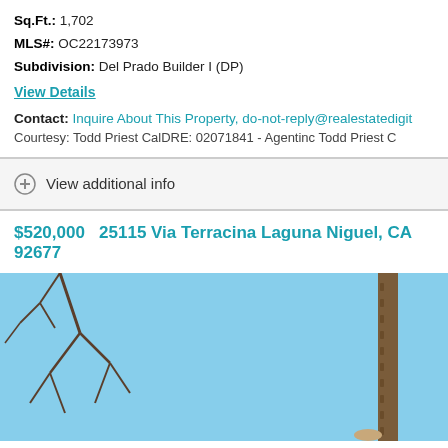Sq.Ft.: 1,702
MLS#: OC22173973
Subdivision: Del Prado Builder I (DP)
View Details
Contact: Inquire About This Property, do-not-reply@realestatedigi...
Courtesy: Todd Priest CalDRE: 02071841 - Agentinc Todd Priest C...
View additional info
$520,000  25115 Via Terracina Laguna Niguel, CA 92677
[Figure (photo): Exterior photo of property at 25115 Via Terracina Laguna Niguel showing blue sky, tree branches on the left, and a palm tree on the right]